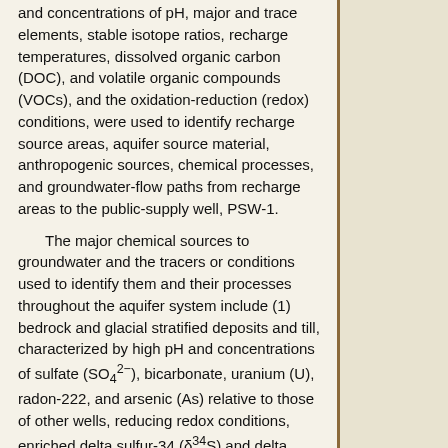and concentrations of pH, major and trace elements, stable isotope ratios, recharge temperatures, dissolved organic carbon (DOC), and volatile organic compounds (VOCs), and the oxidation-reduction (redox) conditions, were used to identify recharge source areas, aquifer source material, anthropogenic sources, chemical processes, and groundwater-flow paths from recharge areas to the public-supply well, PSW-1.
The major chemical sources to groundwater and the tracers or conditions used to identify them and their processes throughout the aquifer system include (1) bedrock and glacial stratified deposits and till, characterized by high pH and concentrations of sulfate (SO4 2−), bicarbonate, uranium (U), radon-222, and arsenic (As) relative to those of other wells, reducing redox conditions, enriched delta sulfur-34 (δ34S) and delta carbon-13 (δ13C) values, depleted delta oxygen-18 (δ18O) and delta deuterium (δD) values, calcite near saturation, low recharge temperatures, and groundwater ages of more than about 9 years; (2) natural organic matter, either in sediments or in an upgradient riparian zone, characterized by high concentrations of DOC or manganese (Mn), low concentrations of